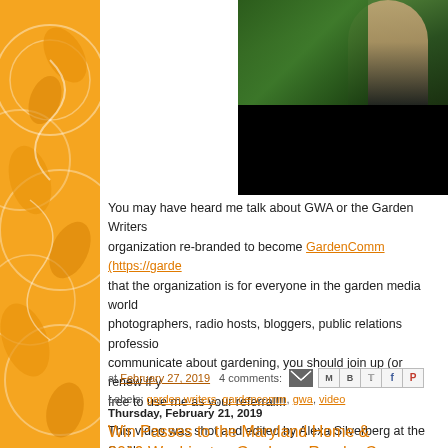[Figure (photo): Photo strip at top right showing a person outdoors with green foliage background, partially cut off, with black bar below]
You may have heard me talk about GWA or the Garden Writers organization re-branded to become GardenComm (https://garde that the organization is for everyone in the garden media world photographers, radio hosts, bloggers, public relations professio communicate about gardening, you should join up (or renew if y free to use me as your referral!!!
This video was shot and edited by Alexa Silverberg at the Smith
at February 27, 2019  4 comments:
Labels: garden writers, gardencomm, gwa, video
Thursday, February 21, 2019
Win Passes to the Maryland Home & 2019 Washington Gardener Reader C